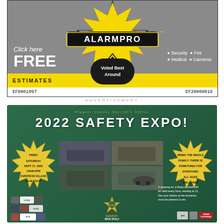[Figure (illustration): AlarmPro advertisement with star logo, 'Click here FREE ESTIMATES', 'Security Fire Medical Cameras bullets', 'Voted Best Around' badge. License numbers EF0001097 and EF20000819 at bottom.]
ADVERTISEMENT
[Figure (illustration): Flagler County Sheriff's Office 2022 Safety Expo advertisement. FREE Saturday Sept 17, 2022 10AM-2PM, European Village Palm Coast. Bring the whole family, something for everyone, all ages welcome. Photo collage of event activities. Ring Doorbell raffle drawing every hour starting at 11. Sheriff Rich Staly.]